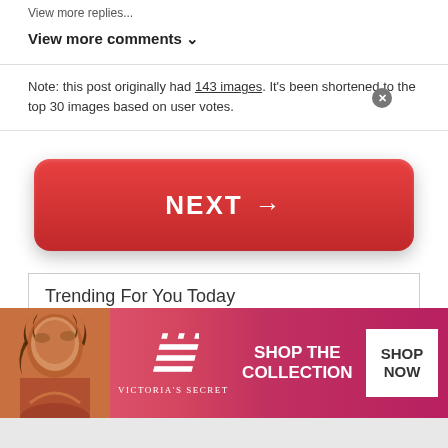View more replies...
View more comments ∨
Note: this post originally had 143 images. It's been shortened to the top 30 images based on user votes.
[Figure (other): Large red NEXT → button for navigating to next page]
Trending For You Today
[Figure (other): Victoria's Secret advertisement banner with model photo, VS logo, SHOP THE COLLECTION text, and SHOP NOW button]